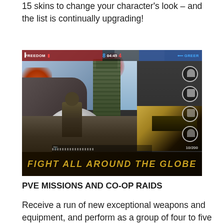15 skins to change your character’s look – and the list is continually upgrading!
[Figure (screenshot): Mobile game screenshot showing a multiplayer shooter game with soldiers, a large white sphere, a stone tower in the center, rocky terrain, game HUD with timer 04:45, score 8-4, and a banner at the bottom reading FIGHT ALL AROUND THE GLOBE in gold italic text]
PVE MISSIONS AND CO-OP RAIDS
Receive a run of new exceptional weapons and equipment, and perform as a group of four to five smash